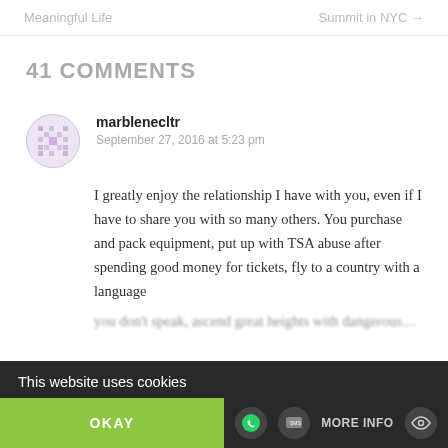Meaningful Life    Summit in NYC →
41 COMMENTS
marblenecltr
September 27, 2016 at 5:23 pm
I greatly enjoy the relationship I have with you, even if I have to share you with so many others. You purchase and pack equipment, put up with TSA abuse after spending good money for tickets, fly to a country with a language
This website uses cookies
OKAY
MORE INFO